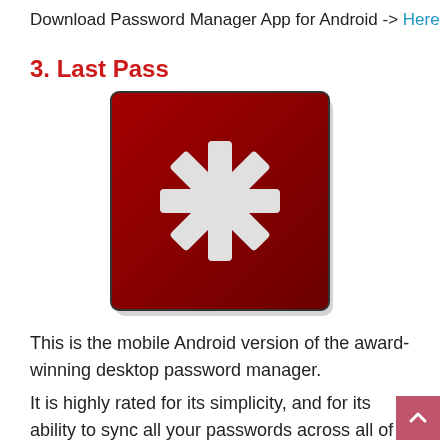Download Password Manager App for Android -> Here
3. Last Pass
[Figure (logo): LastPass app logo — dark red square with a white asterisk/star symbol in the center]
This is the mobile Android version of the award-winning desktop password manager.
It is highly rated for its simplicity, and for its ability to sync all your passwords across all of your different browsers and devices.